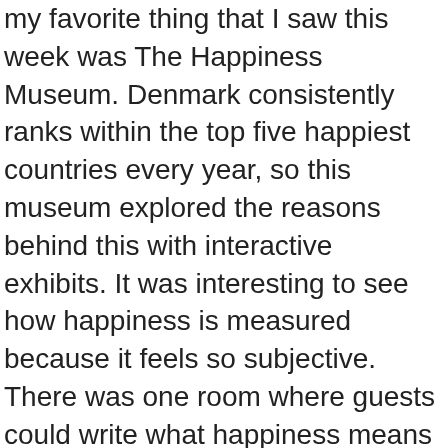my favorite thing that I saw this week was The Happiness Museum. Denmark consistently ranks within the top five happiest countries every year, so this museum explored the reasons behind this with interactive exhibits. It was interesting to see how happiness is measured because it feels so subjective. There was one room where guests could write what happiness means to them on a sticky note, and there were objects placed to show how different things can represent happiness. For example, there was a pair of boots with a caption that said they traveled with their owner through different countries and helped support them in their happiest moments. The room showed how people can find happiness in the smallest of things, no matter where they live.
Another highlight of my week was going up to The Round Tower (Rundotårn). This is a 17th century